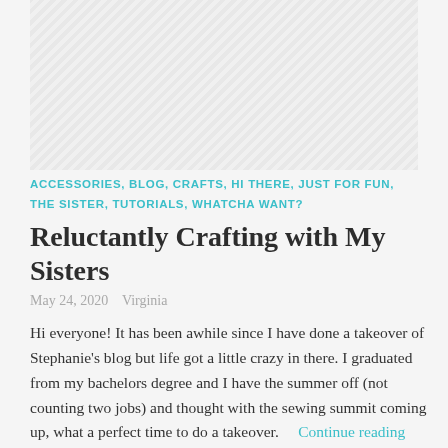[Figure (photo): Placeholder image with diagonal hatching pattern, light gray background]
ACCESSORIES, BLOG, CRAFTS, HI THERE, JUST FOR FUN, THE SISTER, TUTORIALS, WHATCHA WANT?
Reluctantly Crafting with My Sisters
May 24, 2020   Virginia
Hi everyone! It has been awhile since I have done a takeover of Stephanie's blog but life got a little crazy in there. I graduated from my bachelors degree and I have the summer off (not counting two jobs) and thought with the sewing summit coming up, what a perfect time to do a takeover.    Continue reading